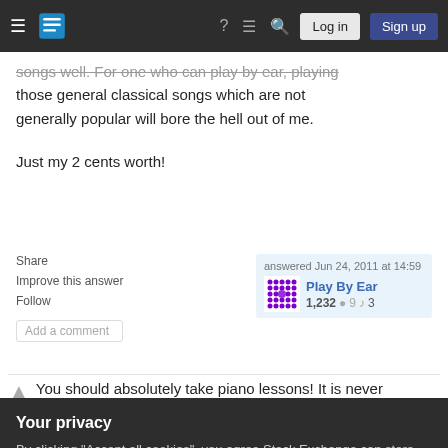Stack Exchange navigation bar with Log in and Sign up buttons
songs well. For one who can play by ear, playing those general classical songs which are not generally popular will bore the hell out of me.

Just my 2 cents worth!
Share  Improve this answer  Follow  Add a comment  answered Jun 24, 2011 at 14:59  Play By Ear  1,232  9  3
You should absolutely take piano lessons! It is never
Your privacy
By clicking "Accept all cookies", you agree Stack Exchange can store cookies on your device and disclose information in accordance with our Cookie Policy.
Accept all cookies  Customize settings
creativity and self expression, increase your